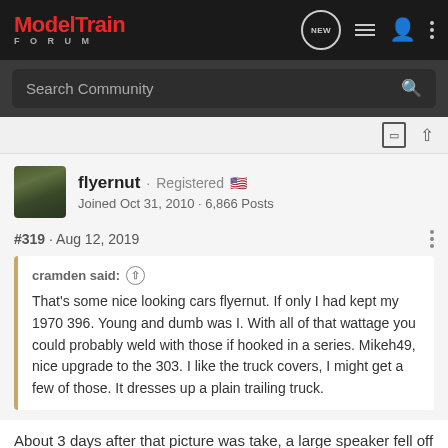ModelTrain FORUM
Search Community
flyernut · Registered
Joined Oct 31, 2010 · 6,866 Posts
#319 · Aug 12, 2019
cramden said: ↑
That's some nice looking cars flyernut. If only I had kept my 1970 396. Young and dumb was I. With all of that wattage you could probably weld with those if hooked in a series. Mikeh49, nice upgrade to the 303. I like the truck covers, I might get a few of those. It dresses up a plain trailing truck.
About 3 days after that picture was take, a large speaker fell off